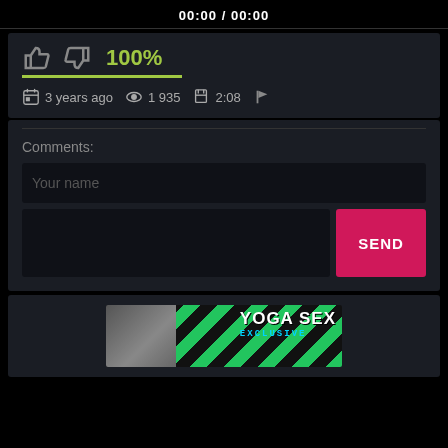00:00 / 00:00
100%
3 years ago  1 935  2:08
Comments:
Your name
SEND
[Figure (screenshot): YOGA SEX EXCLUSIVE advertisement banner with green and black striped background]